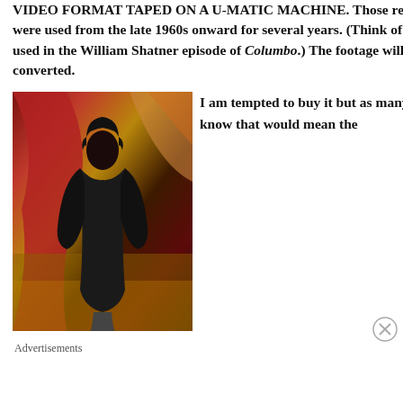VIDEO FORMAT TAPED ON A U-MATIC MACHINE. Those recorders were used from the late 1960s onward for several years. (Think of the one used in the William Shatner episode of Columbo.) The footage will need converted.
[Figure (photo): A woman in a dark outfit posing in front of a colorful theatrical background with red and gold tones]
I am tempted to buy it but as many of you know that would mean the
Advertisements
July 2018 (40)
June 2018 (46)
May 2018 (56)
April 2018 (56)
March 2018 (77)
February 2018 (55)
January 2018 (52)
December 2017 (61)
November 2017 (63)
October 2017 (62)
September 2017 (57)
August 2017 (55)
July 2017 (58)